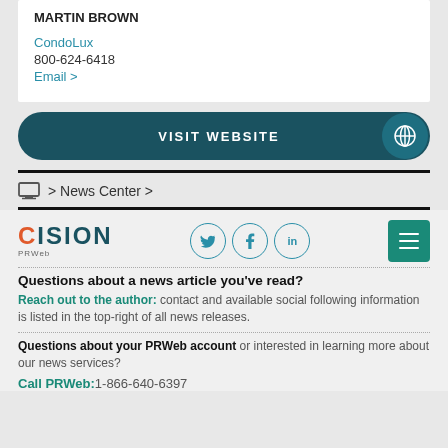MARTIN BROWN
CondoLux
800-624-6418
Email >
VISIT WEBSITE
> News Center >
[Figure (logo): Cision PRWeb logo with social media icons (Twitter, Facebook, LinkedIn) and hamburger menu button]
Questions about a news article you've read?
Reach out to the author: contact and available social following information is listed in the top-right of all news releases.
Questions about your PRWeb account or interested in learning more about our news services?
Call PRWeb: 1-866-640-6397